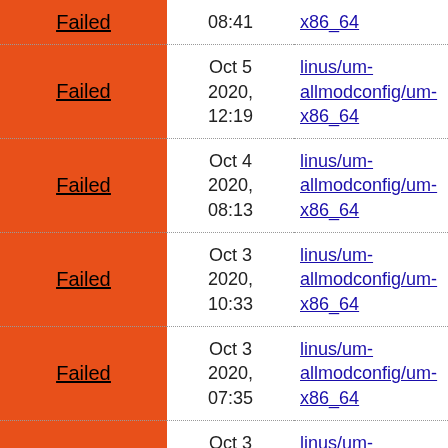| Status | Date | Branch/Config |
| --- | --- | --- |
| Failed | Oct 5 2020, 08:41 | linus/um-allmodconfig/um-x86_64 |
| Failed | Oct 5 2020, 12:19 | linus/um-allmodconfig/um-x86_64 |
| Failed | Oct 4 2020, 08:13 | linus/um-allmodconfig/um-x86_64 |
| Failed | Oct 3 2020, 10:33 | linus/um-allmodconfig/um-x86_64 |
| Failed | Oct 3 2020, 07:35 | linus/um-allmodconfig/um-x86_64 |
| Failed | Oct 3 2020, 04:30 | linus/um-allmodconfig/um-x86_64 |
| Failed | Oct 2 2020, 14:58 | linus/um-allmodconfig/um-x86_64 |